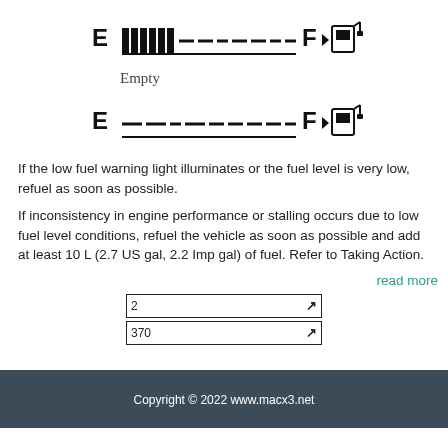[Figure (schematic): Fuel gauge showing low/near-empty level with E on left, F on right, fuel pump icon, and filled bars near E side]
Empty
[Figure (schematic): Fuel gauge showing empty level with E on left, F on right, fuel pump icon, and no filled bars]
If the low fuel warning light illuminates or the fuel level is very low, refuel as soon as possible.
If inconsistency in engine performance or stalling occurs due to low fuel level conditions, refuel the vehicle as soon as possible and add at least 10 L (2.7 US gal, 2.2 Imp gal) of fuel. Refer to Taking Action.
read more
2
370
Copyright © 2022 www.macx3.net